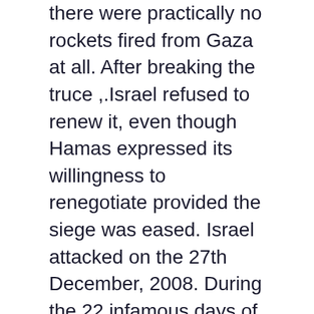there were practically no rockets fired from Gaza at all. After breaking the truce ,.Israel refused to renew it, even though Hamas expressed its willingness to renegotiate provided the siege was eased. Israel attacked on the 27th December, 2008. During the 22 infamous days of Operation Cast Lead, Israel killed 1417 Palestinian people, 352 of whom were children.
Flaunting the Geneva Conventions, Israel fiendishly, illegally targeted and destroyed ambulances, hospitals, schools, universities, the sole electric power and sewerage plants, chicken